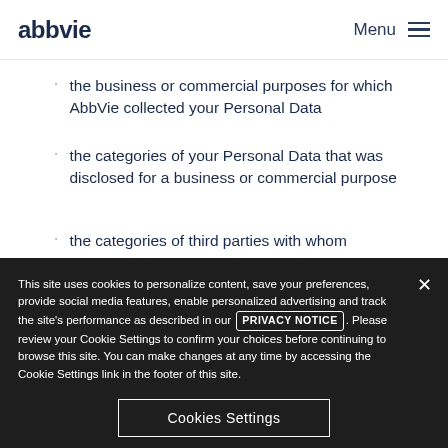abbvie | Menu
the business or commercial purposes for which AbbVie collected your Personal Data
the categories of your Personal Data that was disclosed for a business or commercial purpose
the categories of third parties with whom
This site uses cookies to personalize content, save your preferences, provide social media features, enable personalized advertising and track the site's performance as described in our Privacy Notice. Please review your Cookie Settings to confirm your choices before continuing to browse this site. You can make changes at any time by accessing the Cookie Settings link in the footer of this site.
Cookies Settings